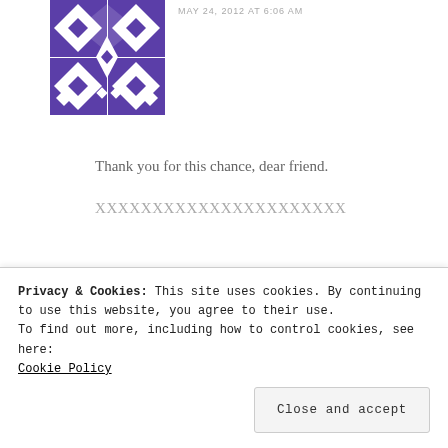[Figure (illustration): Purple geometric/quilt-pattern avatar icon]
MAY 24, 2012 AT 6:06 AM
Thank you for this chance, dear friend.
XXXXXXXXXXXXXXXXXXXXXX
Reply
[Figure (photo): Partial photo avatar for second commenter (amanda b @ the mommyhood)]
Privacy & Cookies: This site uses cookies. By continuing to use this website, you agree to their use.
To find out more, including how to control cookies, see here:
Cookie Policy
Close and accept